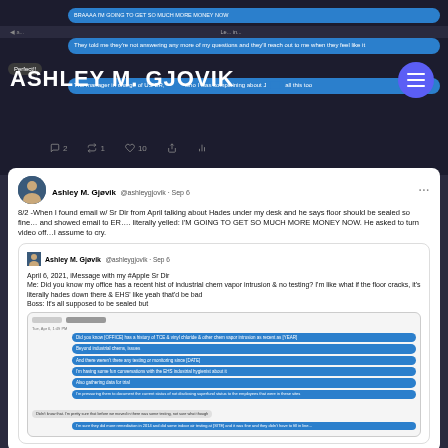ASHLEY M. GJOVIK
[Figure (screenshot): iMessage conversation screenshot showing dark-themed chat bubbles. Right bubble: 'BRAAAA I'M GOING TO GET SO MUCH MORE MONEY NOW'. Right bubble: 'They told me they're not answering any more of my questions and they'll reach out to me when they feel like it'. Left bubble: 'Perfect!!'. Right bubble: 'The manager in charge of US ER, [redacted] who I was complaining about J[redacted] all this too'. Tweet engagement icons: 2 comments, 1 retweet, 10 likes.]
Ashley M. Gjøvik @ashleygjovik · Sep 6
8/2 -When I found email w/ Sr Dir from April talking about Hades under my desk and he says floor should be sealed so fine… and showed email to ER…. literally yelled: I'M GOING TO GET SO MUCH MORE MONEY NOW. He asked to turn video off…I assume to cry.
[Figure (screenshot): Nested quoted tweet from Ashley M. Gjøvik @ashleygjovik · Sep 6: 'April 6, 2021, iMessage with my #Apple Sr Dir. Me: Did you know my office has a recent hist of industrial chem vapor intrusion & no testing? I'm like what if the floor cracks, it's literally hades down there & EHS' like yeah that'd be bad. Boss: It's all supposed to be sealed but'. Below is a screenshot of iMessage conversation with multiple blue bubbles and a gray bubble.]